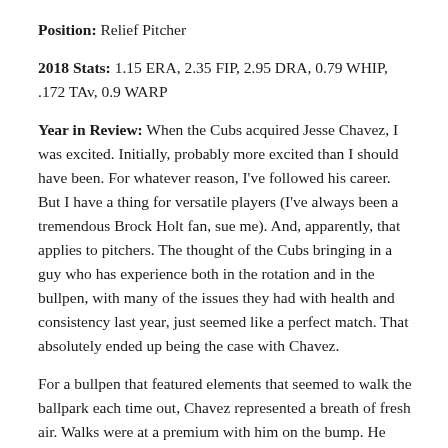Position: Relief Pitcher
2018 Stats: 1.15 ERA, 2.35 FIP, 2.95 DRA, 0.79 WHIP, .172 TAv, 0.9 WARP
Year in Review: When the Cubs acquired Jesse Chavez, I was excited. Initially, probably more excited than I should have been. For whatever reason, I've followed his career. But I have a thing for versatile players (I've always been a tremendous Brock Holt fan, sue me). And, apparently, that applies to pitchers. The thought of the Cubs bringing in a guy who has experience both in the rotation and in the bullpen, with many of the issues they had with health and consistency last year, just seemed like a perfect match. That absolutely ended up being the case with Chavez.
For a bullpen that featured elements that seemed to walk the ballpark each time out, Chavez represented a breath of fresh air. Walks were at a premium with him on the bump. He walked a minuscule 1.2 hitters per nine, coming off of a 1.9 figure prior to that with the Texas Rangers. Throwing nearly 70 percent of your pitches for strikes will do that. He sat largely in the lower-90s,